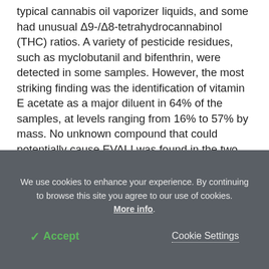typical cannabis oil vaporizer liquids, and some had unusual Δ9-/Δ8-tetrahydrocannabinol (THC) ratios. A variety of pesticide residues, such as myclobutanil and bifenthrin, were detected in some samples. However, the most striking finding was the identification of vitamin E acetate as a major diluent in 64% of the samples, at levels ranging from 16% to 57% by mass. No unknown compound that could potentially cause EVALI was found in the two nicotine products tested.
"Our laboratory was the first to identify
We use cookies to enhance your experience. By continuing to browse this site you agree to our use of cookies. More info.